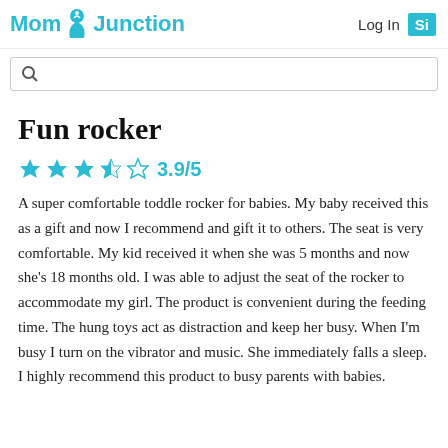MomJunction  Log In  Si
Fun rocker
★★★✩☆ 3.9/5
A super comfortable toddle rocker for babies. My baby received this as a gift and now I recommend and gift it to others. The seat is very comfortable. My kid received it when she was 5 months and now she's 18 months old. I was able to adjust the seat of the rocker to accommodate my girl. The product is convenient during the feeding time. The hung toys act as distraction and keep her busy. When I'm busy I turn on the vibrator and music. She immediately falls a sleep. I highly recommend this product to busy parents with babies.